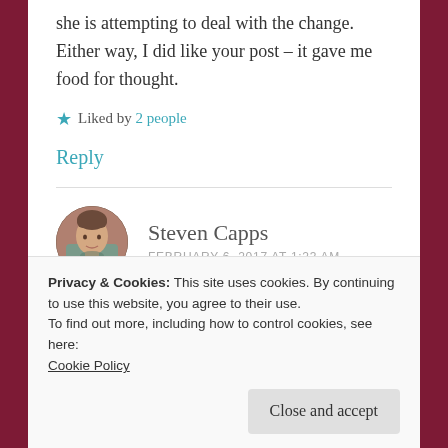she is attempting to deal with the change. Either way, I did like your post – it gave me food for thought.
★ Liked by 2 people
Reply
[Figure (photo): Circular avatar photo of Steven Capps, a young man with short hair wearing a grey shirt]
Steven Capps
FEBRUARY 6, 2017 AT 1:23 AM
Privacy & Cookies: This site uses cookies. By continuing to use this website, you agree to their use.
To find out more, including how to control cookies, see here:
Cookie Policy
Close and accept